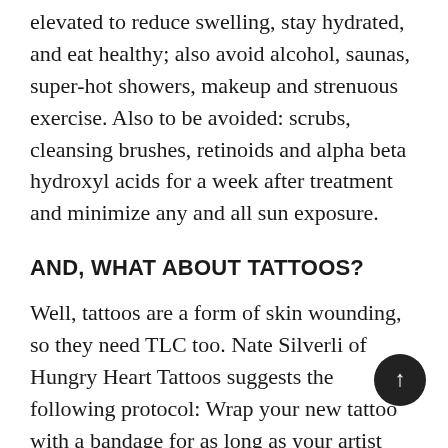elevated to reduce swelling, stay hydrated, and eat healthy; also avoid alcohol, saunas, super-hot showers, makeup and strenuous exercise. Also to be avoided: scrubs, cleansing brushes, retinoids and alpha beta hydroxyl acids for a week after treatment and minimize any and all sun exposure.
AND, WHAT ABOUT TATTOOS?
Well, tattoos are a form of skin wounding, so they need TLC too. Nate Silverli of Hungry Heart Tattoos suggests the following protocol: Wrap your new tattoo with a bandage for as long as your artist suggests then wash with warm water and fragrance-free